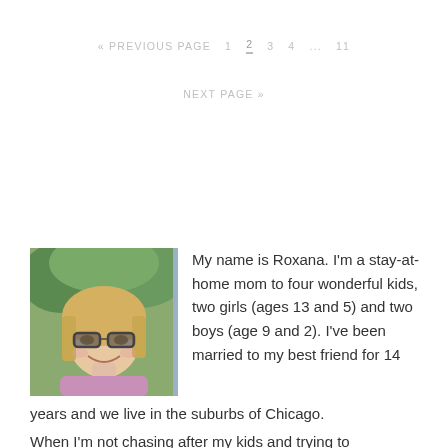« PREVIOUS PAGE   1   2   3   4   ...   11
NEXT PAGE »
[Figure (photo): A woman with blonde hair and glasses, wearing a pink/purple top, smiling outdoors]
My name is Roxana. I'm a stay-at-home mom to four wonderful kids, two girls (ages 13 and 5) and two boys (age 9 and 2). I've been married to my best friend for 14 years and we live in the suburbs of Chicago. When I'm not chasing after my kids and trying to